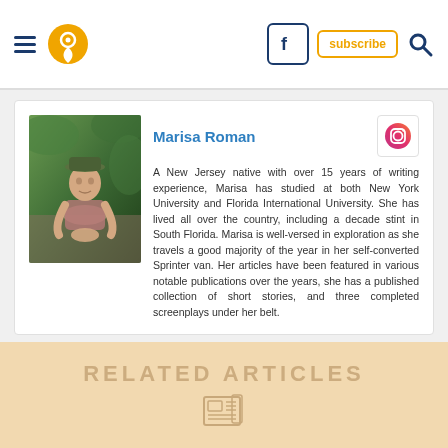Navigation header with menu, location pin, Facebook, subscribe, and search buttons
[Figure (photo): Photo of Marisa Roman, a person wearing a hat and floral shirt, seated outdoors at a wooden table with greenery in background]
Marisa Roman
[Figure (logo): Instagram icon button]
A New Jersey native with over 15 years of writing experience, Marisa has studied at both New York University and Florida International University. She has lived all over the country, including a decade stint in South Florida. Marisa is well-versed in exploration as she travels a good majority of the year in her self-converted Sprinter van. Her articles have been featured in various notable publications over the years, she has a published collection of short stories, and three completed screenplays under her belt.
x
RELATED ARTICLES